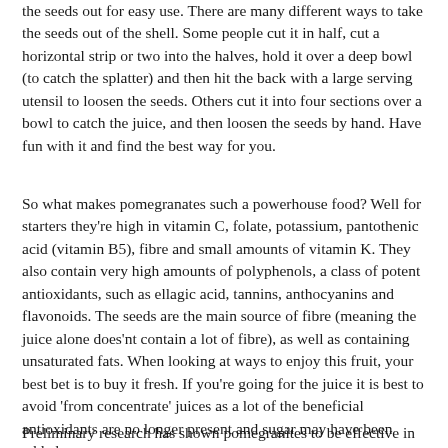the seeds out for easy use.  There are many different ways to take the seeds out of the shell.  Some people cut it in half, cut a horizontal strip or two into the halves, hold it over a deep bowl (to catch the splatter) and then hit the back with a large serving utensil to loosen the seeds.  Others cut it into four sections over a bowl to catch the juice, and then loosen the seeds by hand. Have fun with it and find the best way for you.
So what makes pomegranates such a powerhouse food?  Well for starters they're high in vitamin C, folate, potassium, pantothenic acid (vitamin B5), fibre and small amounts of vitamin K.  They also contain very high amounts of polyphenols, a class of potent antioxidants, such as ellagic acid, tannins, anthocyanins and flavonoids.  The seeds are the main source of fibre (meaning the juice alone does'nt contain a lot of fibre), as well as containing unsaturated fats.  When looking at ways to enjoy this fruit, your best bet is to buy it fresh.  If you're going for the juice it is best to avoid 'from concentrate' juices as a lot of the beneficial antioxidants are no longer present and sugar may have been added.
Preliminary research has shown pomegranites to be effective in